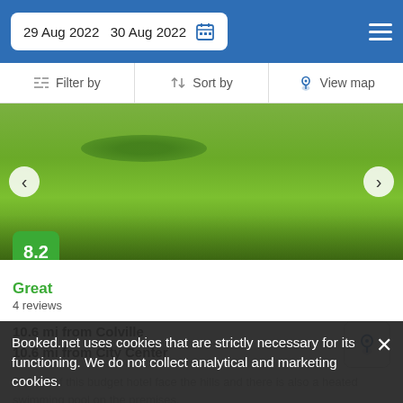29 Aug 2022  30 Aug 2022
Filter by  Sort by  View map
[Figure (photo): Exterior photo of a budget hotel showing a large green lawn with garden beds and a white building in the background. Navigation arrows on either side. Score badge showing 8.2 in green.]
Great
4 reviews
10.6 mi from Colville
10.6 mi from City Center
Rooms of this budget hotel face the hills and there is also a heated swimming pool on the premises.
from US$ 98/night  SELECT
Booked.net uses cookies that are strictly necessary for its functioning. We do not collect analytical and marketing cookies.